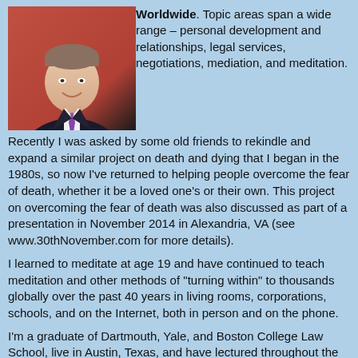[Figure (photo): Headshot of a man in a suit and tie against a red/orange background]
Worldwide. Topic areas span a wide range – personal development and relationships, legal services, negotiations, mediation, and meditation.
Recently I was asked by some old friends to rekindle and expand a similar project on death and dying that I began in the 1980s, so now I've returned to helping people overcome the fear of death, whether it be a loved one's or their own. This project on overcoming the fear of death was also discussed as part of a presentation in November 2014 in Alexandria, VA (see www.30thNovember.com for more details).
I learned to meditate at age 19 and have continued to teach meditation and other methods of "turning within" to thousands globally over the past 40 years in living rooms, corporations, schools, and on the Internet, both in person and on the phone.
I'm a graduate of Dartmouth, Yale, and Boston College Law School, live in Austin, Texas, and have lectured throughout the United States and in 6 other countries.
Contact information:
For my lecture schedule, see my nonprofit at: www.overcomingthefearofdeath.org/